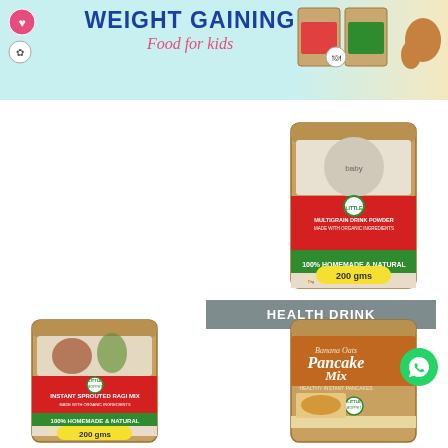WEIGHT GAINING Food for kids
[Figure (photo): Product package: Multigrain Drink Powder, 100% Homemade & Natural, 200 gms - kraft paper stand-up pouch with green/red label]
HEALTH DRINK
[Figure (photo): Product package: Instant Sprouted Ragi Mix, 100% Homemade & Natural, 200 gms - kraft paper stand-up pouch with green label]
[Figure (photo): Product package: Banana Oats Pancake Mix, Healthy Instant Pancakes - kraft paper stand-up pouch with brown/orange label]